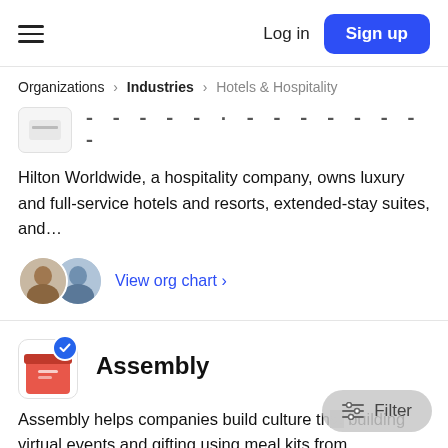Log in | Sign up
Organizations > Industries > Hotels & Hospitality
[Figure (logo): Hilton Worldwide logo box with redacted company name text]
Hilton Worldwide, a hospitality company, owns luxury and full-service hotels and resorts, extended-stay suites, and...
View org chart >
[Figure (logo): Assembly company logo with blue verified badge]
Assembly
Assembly helps companies build culture th... building virtual events and gifting using meal kits from